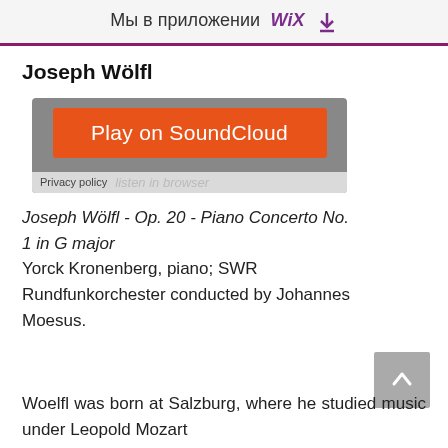Мы в приложении WiX ⬇
Joseph Wölfl
[Figure (screenshot): SoundCloud embedded player widget showing an orange 'Play on SoundCloud' button over a grey background, with a privacy policy bar and 'listen in browser' text partially visible.]
Joseph Wölfl - Op. 20 - Piano Concerto No. 1 in G major
Yorck Kronenberg, piano; SWR Rundfunkorchester conducted by Johannes Moesus.
Woelfl was born at Salzburg, where he studied music under Leopold Mozart